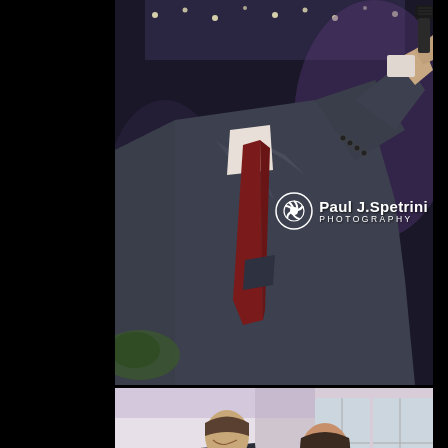[Figure (photo): Close-up photo of a man in a dark navy suit with a dark red tie, holding a black microphone up to his mouth as if giving a speech at a wedding reception. Only his torso, arms, and lower jaw are visible. The background shows a dimly lit reception hall with purple/blue lighting and decorative lights.]
[Figure (photo): Photo of a couple seated at a wedding reception. The groom is on the left wearing a dark suit with a dark red tie, looking toward the bride. The bride on the right has long dark hair and is wearing a white lace dress, smiling. The background shows white draped curtains and tall windows of a reception venue.]